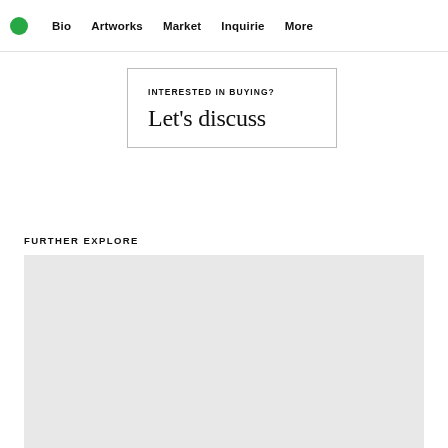Bio  Artworks  Market  Inquirie  More
INTERESTED IN BUYING?
Let's discuss
FURTHER EXPLORE
[Figure (photo): Light grey placeholder image block below FURTHER EXPLORE heading]